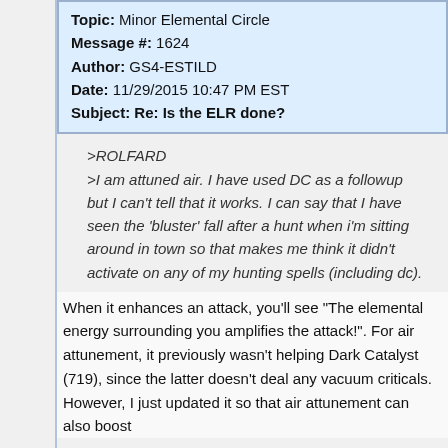| Topic: | Minor Elemental Circle |
| Message #: | 1624 |
| Author: | GS4-ESTILD |
| Date: | 11/29/2015 10:47 PM EST |
| Subject: | Re: Is the ELR done? |
>ROLFARD
>I am attuned air. I have used DC as a followup but I can't tell that it works. I can say that I have seen the 'bluster' fall after a hunt when i'm sitting around in town so that makes me think it didn't activate on any of my hunting spells (including dc).
When it enhances an attack, you'll see "The elemental energy surrounding you amplifies the attack!". For air attunement, it previously wasn't helping Dark Catalyst (719), since the latter doesn't deal any vacuum criticals. However, I just updated it so that air attunement can also boost